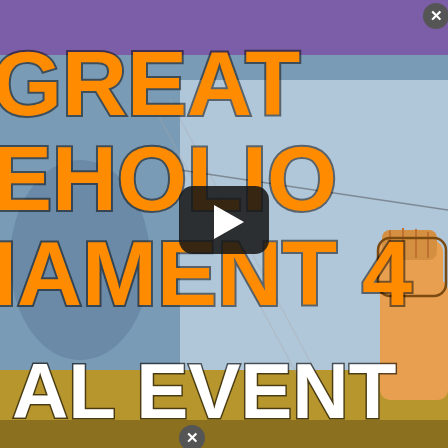[Figure (screenshot): A video thumbnail/screenshot showing a promotional image for 'The Great Pokeholio Tournament 4 - Special Event'. Large orange bold text reading 'GREAT', 'EHOLIO', 'IAMENT 4' overlaid on a blurred sports/gymnastics background with a purple banner at top and gold/yellow band at bottom. A cartoon character with raised fist visible on the right side. A video play button (dark rounded rectangle with white triangle) is centered on the image. Two close/dismiss X buttons are visible. White bold text 'AL EVENT' appears at the bottom left.]